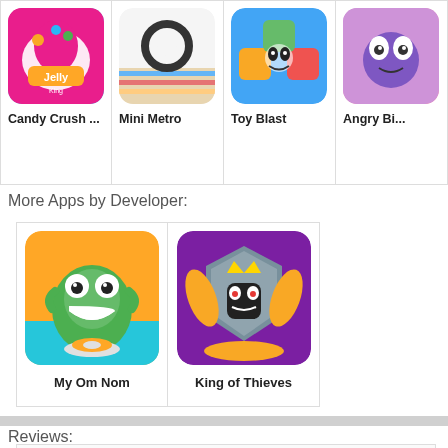[Figure (screenshot): App store listing showing app cards: Candy Crush (partial), Mini Metro, Toy Blast, Angry Birds (partial cut off)]
Candy Crush ...
Mini Metro
Toy Blast
Angry Bi...
More Apps by Developer:
[Figure (screenshot): Developer app cards: My Om Nom and King of Thieves]
My Om Nom
King of Thieves
Reviews:
4.0